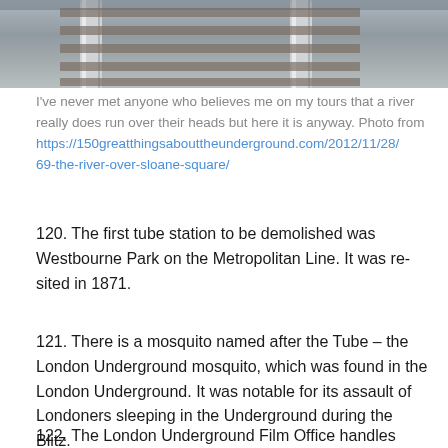[Figure (photo): Close-up photograph of railway tracks from above, showing steel rails and gravel/ballast, in grayscale tones.]
I've never met anyone who believes me on my tours that a river really does run over their heads but here it is anyway. Photo from https://150greatthingsabouttheunderground.com/2012/11/28/69-the-river-over-sloane-square/
120. The first tube station to be demolished was Westbourne Park on the Metropolitan Line. It was re-sited in 1871.
121. There is a mosquito named after the Tube – the London Underground mosquito, which was found in the London Underground. It was notable for its assault of Londoners sleeping in the Underground during the Blitz.
122. The London Underground Film Office handles over